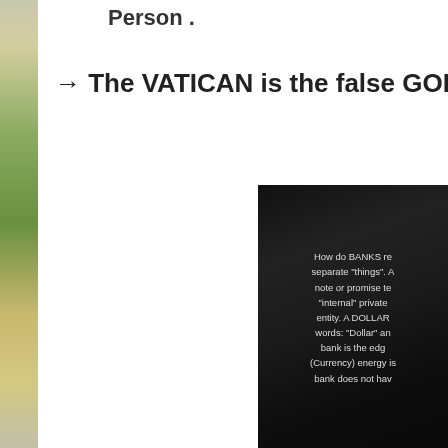Person .
→ The VATICAN is the false GOD.
[Figure (photo): Dark background image with white text reading: How do BANKS re... separate "things". A... note or promise te... "internal" private... entity. A DOLLAR... words: "Dollar" an... bank is the edg... (Currency) energy is... bank does not hav...]
[Figure (photo): Left edge landscape photo showing green fields and sky]